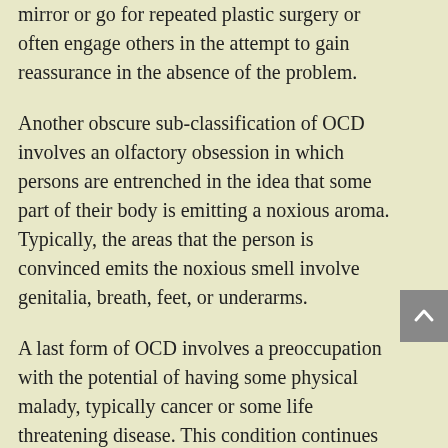mirror or go for repeated plastic surgery or often engage others in the attempt to gain reassurance in the absence of the problem.
Another obscure sub-classification of OCD involves an olfactory obsession in which persons are entrenched in the idea that some part of their body is emitting a noxious aroma. Typically, the areas that the person is convinced emits the noxious smell involve genitalia, breath, feet, or underarms.
A last form of OCD involves a preoccupation with the potential of having some physical malady, typically cancer or some life threatening disease. This condition continues to be referred to as hypochondriasis and exists in the DSM as a separate disorder from OCD. However, like body dysmorphic disorder, the symptoms and endless search for reassurance fall completely under the diagnostic category of OCD.